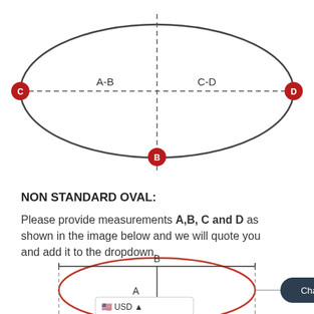[Figure (engineering-diagram): Top diagram showing an oval/ellipse with dashed crosshair lines. Points C (left) and D (right) are on the horizontal axis, labeled C and D with red filled circles. Point B is at the bottom center with a red filled circle. A dashed horizontal line runs through C and D labeled 'A-B' on the left half and 'C-D' on the right half. A dashed vertical line runs through B.]
NON STANDARD OVAL:
Please provide measurements A,B, C and D as shown in the image below and we will quote you and add it to the dropdown.
[Figure (engineering-diagram): Bottom diagram showing a red oval with measurement indicators. 'B' is labeled at the top with a horizontal bracket spanning the width. 'A' is labeled in the center with a vertical line. Dashed vertical lines mark the width. A 'Chat with us' button appears to the right.]